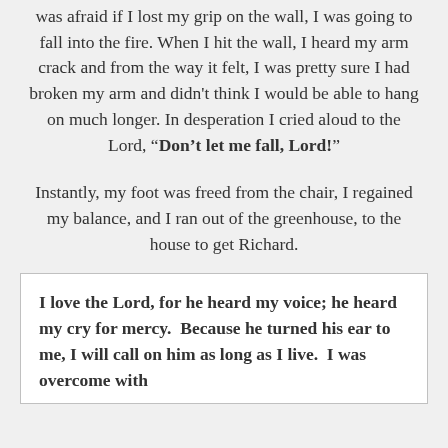was afraid if I lost my grip on the wall, I was going to fall into the fire. When I hit the wall, I heard my arm crack and from the way it felt, I was pretty sure I had broken my arm and didn't think I would be able to hang on much longer. In desperation I cried aloud to the Lord, “Don’t let me fall, Lord!”
Instantly, my foot was freed from the chair, I regained my balance, and I ran out of the greenhouse, to the house to get Richard.
I love the Lord, for he heard my voice; he heard my cry for mercy.  Because he turned his ear to me, I will call on him as long as I live.  I was overcome with